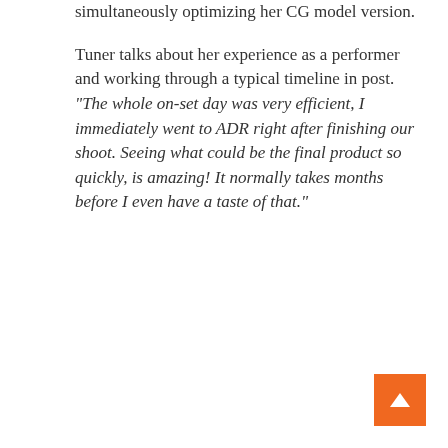simultaneously optimizing her CG model version.
Tuner talks about her experience as a performer and working through a typical timeline in post. “The whole on-set day was very efficient, I immediately went to ADR right after finishing our shoot. Seeing what could be the final product so quickly, is amazing! It normally takes months before I even have a taste of that.”